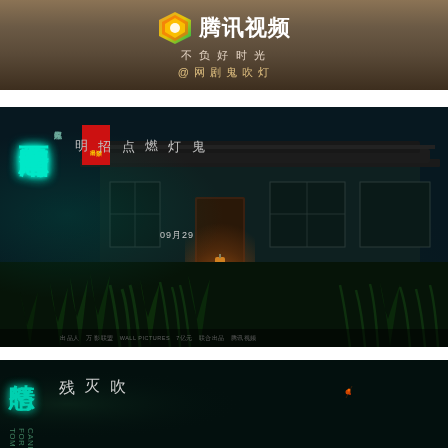[Figure (photo): Tencent Video banner with logo, Chinese text '腾讯视频' (Tencent Video), tagline '不负好时光', and Weibo handle '@网剧鬼吹灯' on textured brown/earth background]
[Figure (photo): Main promotional poster for Chinese TV drama '鬼吹灯之怒晴湘西' (Ghost Blows Out the Light: Rage in Xiangxi). Dark night scene with traditional Chinese building, overgrown grass, warm light from doorway. Teal calligraphic title on left, vertical text '鬼灯燃点招明', release date '09月29', red badge, production credits at bottom.]
[Figure (photo): Bottom portion of another promotional poster for the same drama, showing partial calligraphic title and vertical Chinese text '吹灭残' on dark background with distant fire spark.]